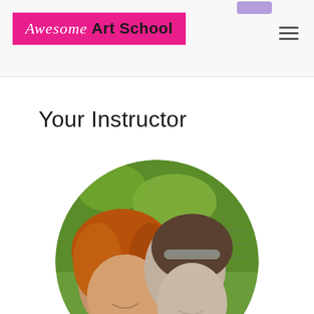Awesome Art School
Your Instructor
[Figure (photo): Circular cropped photo of two women smiling outdoors in front of green foliage and a metal fence. The woman on the left has red/auburn wavy hair and is wearing a teal top. The woman on the right has dark hair with a grey headband.]